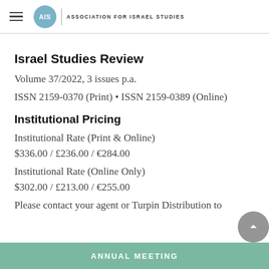AIS / ASSOCIATION FOR ISRAEL STUDIES
Israel Studies Review
Volume 37/2022, 3 issues p.a.
ISSN 2159-0370 (Print) • ISSN 2159-0389 (Online)
Institutional Pricing
Institutional Rate (Print & Online)
$336.00 / £236.00 / €284.00
Institutional Rate (Online Only)
$302.00 / £213.00 / €255.00
Please contact your agent or Turpin Distribution to
ANNUAL MEETING